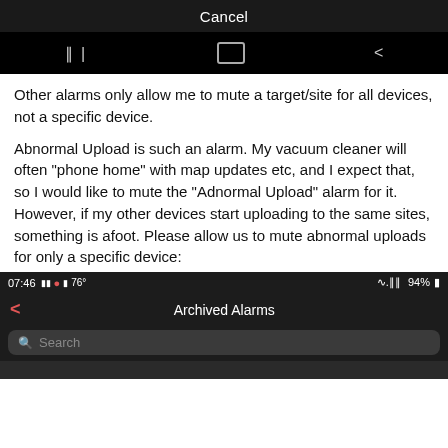[Figure (screenshot): Android navigation bar screenshot showing Cancel button at top and navigation icons (recent apps, home, back) on black background]
Other alarms only allow me to mute a target/site for all devices, not a specific device.
Abnormal Upload is such an alarm. My vacuum cleaner will often "phone home" with map updates etc, and I expect that, so I would like to mute the "Adnormal Upload" alarm for it. However, if my other devices start uploading to the same sites, something is afoot. Please allow us to mute abnormal uploads for only a specific device:
[Figure (screenshot): Mobile app screenshot showing Archived Alarms screen with status bar showing 07:46, 94% battery, wifi signal, and a search bar below the title]